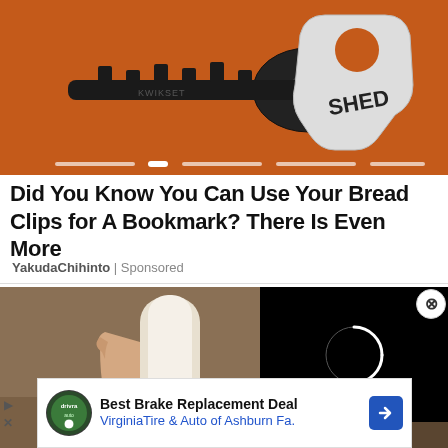[Figure (photo): Photo of a metal door key on an orange background next to a white key cap shaped like a shed/house labeled SHED. Carousel dots visible at bottom of image.]
Did You Know You Can Use Your Bread Clips for A Bookmark? There Is Even More
YakudaChihinto | Sponsored
[Figure (photo): Photo of a hand holding a white cylindrical smart home device (bulb/sensor). Right half shows a black video player overlay with a white circular loading spinner. A close button (X) appears at top right.]
[Figure (advertisement): Ad banner: Best Brake Replacement Deal - VirginiaTire & Auto of Ashburn Fa. with Drivra Auto logo and blue arrow button.]